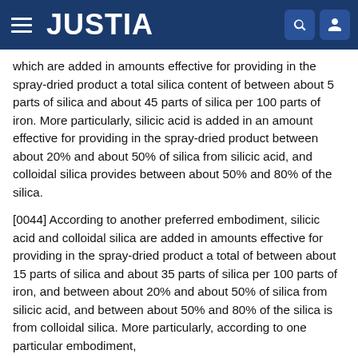JUSTIA
which are added in amounts effective for providing in the spray-dried product a total silica content of between about 5 parts of silica and about 45 parts of silica per 100 parts of iron. More particularly, silicic acid is added in an amount effective for providing in the spray-dried product between about 20% and about 50% of silica from silicic acid, and colloidal silica provides between about 50% and 80% of the silica.
[0044] According to another preferred embodiment, silicic acid and colloidal silica are added in amounts effective for providing in the spray-dried product a total of between about 15 parts of silica and about 35 parts of silica per 100 parts of iron, and between about 20% and about 50% of silica from silicic acid, and between about 50% and 80% of the silica is from colloidal silica. More particularly, according to one particular embodiment,